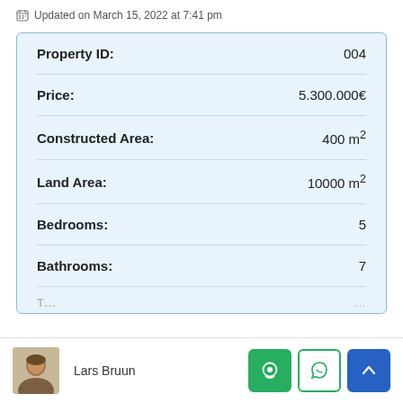Updated on March 15, 2022 at 7:41 pm
| Field | Value |
| --- | --- |
| Property ID: | 004 |
| Price: | 5.300.000€ |
| Constructed Area: | 400 m² |
| Land Area: | 10000 m² |
| Bedrooms: | 5 |
| Bathrooms: | 7 |
Lars Bruun